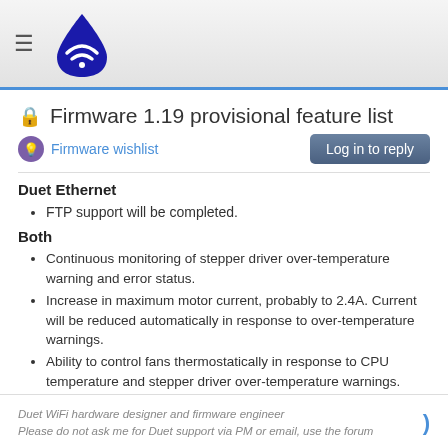[Figure (logo): Duet WiFi drop-shaped logo with wifi symbol, dark blue, in top navigation bar alongside hamburger menu icon]
Firmware 1.19 provisional feature list
Firmware wishlist
Duet Ethernet
FTP support will be completed.
Both
Continuous monitoring of stepper driver over-temperature warning and error status.
Increase in maximum motor current, probably to 2.4A. Current will be reduced automatically in response to over-temperature warnings.
Ability to control fans thermostatically in response to CPU temperature and stepper driver over-temperature warnings.
Duet WiFi hardware designer and firmware engineer
Please do not ask me for Duet support via PM or email, use the forum